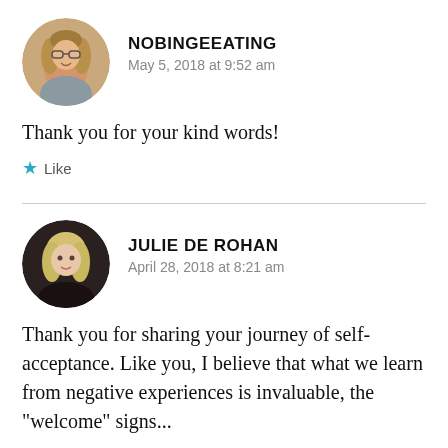[Figure (photo): Circular avatar photo of a woman with glasses and light brown hair, smiling]
NOBINGEEATING
May 5, 2018 at 9:52 am
Thank you for your kind words!
★ Like
[Figure (photo): Circular avatar photo of a woman with short blonde hair]
JULIE DE ROHAN
April 28, 2018 at 8:21 am
Thank you for sharing your journey of self-acceptance. Like you, I believe that what we learn from negative experiences is invaluable, the "welcome" signs...